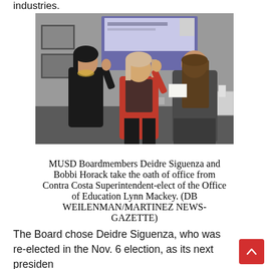industries.
[Figure (photo): Three women in a room with a projection screen. Two women on the left raise their right hands (taking an oath), while a woman on the right faces them holding papers. The scene appears to be a swearing-in ceremony.]
MUSD Boardmembers Deidre Siguenza and Bobbi Horack take the oath of office from Contra Costa Superintendent-elect of the Office of Education Lynn Mackey. (DB WEILENMAN/MARTINEZ NEWS-GAZETTE)
The Board chose Deidre Siguenza, who was re-elected in the Nov. 6 election, as its next president